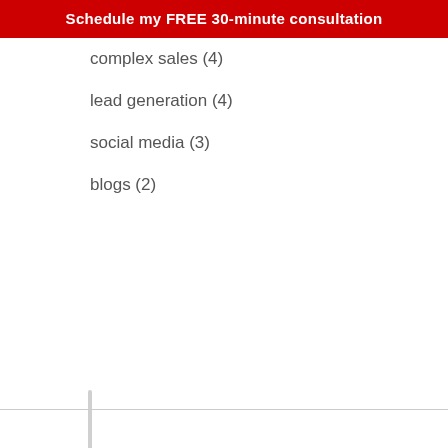Schedule my FREE 30-minute consultation
complex sales (4)
lead generation (4)
social media (3)
blogs (2)